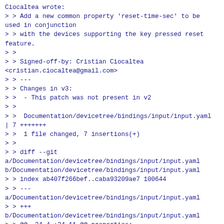Ciocaltea wrote:
> > Add a new common property 'reset-time-sec' to be used in conjunction
> > with the devices supporting the key pressed reset feature.
> >
> > Signed-off-by: Cristian Ciocaltea <cristian.ciocaltea@gmail.com>
> > ---
> > Changes in v3:
> >  - This patch was not present in v2
> >
> >  Documentation/devicetree/bindings/input/input.yaml | 7 +++++++
> >  1 file changed, 7 insertions(+)
> >
> > diff --git a/Documentation/devicetree/bindings/input/input.yaml b/Documentation/devicetree/bindings/input/input.yaml
> > index ab407f266bef..caba93209ae7 100644
> > ---
a/Documentation/devicetree/bindings/input/input.yaml
> > +++
b/Documentation/devicetree/bindings/input/input.yaml
> > @@ -34,4 +34,11 @@ properties:
> >          specify this property.
> >       $ref: /schemas/types.yaml#/definitions/uint32
> >
> > +  reset-time-sec:
> > +    description: